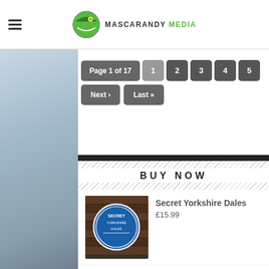Mascarandy Media
Page 1 of 17  1  2  3  4  5  Next »  Last »
BUY NOW
Secret Yorkshire Dales
£15.99
Wanderer Patch
£5.00